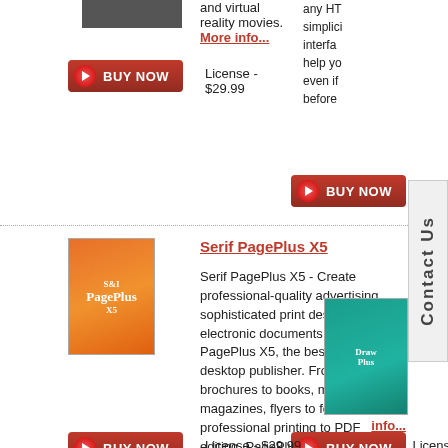and virtual reality movies.
More info...
[Figure (other): Buy Now button]
License - $29.99
any HTML simplicity, interface help you even if before
[Figure (other): Buy Now button (right column)]
[Figure (other): Contact Us vertical tab]
[Figure (other): Serif PagePlus X5 product box image]
Serif PagePlus X5
Serif PagePlus X5 - Create professional-quality advertising, sophisticated print designs and electronic documents with PagePlus X5, the best-in-class desktop publisher. From brochures to books, menus to magazines, flyers to forms and professional printing to PDF editing, PagePlus X5 does it all quickly and easily--like having a design agency at your desk. More info...
[Figure (other): DrawPlus product box image]
info...
[Figure (other): Buy Now button (right column lower)]
Licens
[Figure (other): Buy Now button (bottom left)]
License - $29.99